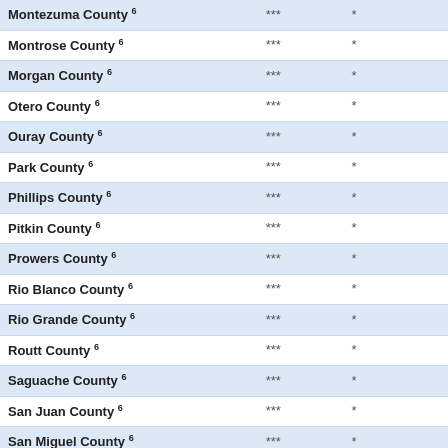|  |  |  |  |
| --- | --- | --- | --- |
| Montezuma County 6 | *** | * |  |
| Montrose County 6 | *** | * |  |
| Morgan County 6 | *** | * |  |
| Otero County 6 | *** | * |  |
| Ouray County 6 | *** | * |  |
| Park County 6 | *** | * |  |
| Phillips County 6 | *** | * |  |
| Pitkin County 6 | *** | * |  |
| Prowers County 6 | *** | * |  |
| Rio Blanco County 6 | *** | * |  |
| Rio Grande County 6 | *** | * |  |
| Routt County 6 | *** | * |  |
| Saguache County 6 | *** | * |  |
| San Juan County 6 | *** | * |  |
| San Miguel County 6 | *** | * |  |
| Sedgwick County 6 | *** | * |  |
| Summit County 6 | *** | * |  |